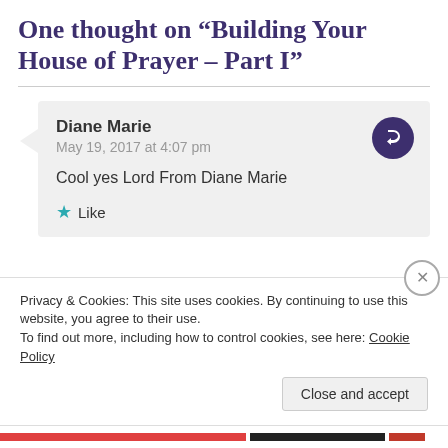One thought on “Building Your House of Prayer – Part I”
Diane Marie
May 19, 2017 at 4:07 pm

Cool yes Lord From Diane Marie

★ Like
Privacy & Cookies: This site uses cookies. By continuing to use this website, you agree to their use.
To find out more, including how to control cookies, see here: Cookie Policy
Close and accept